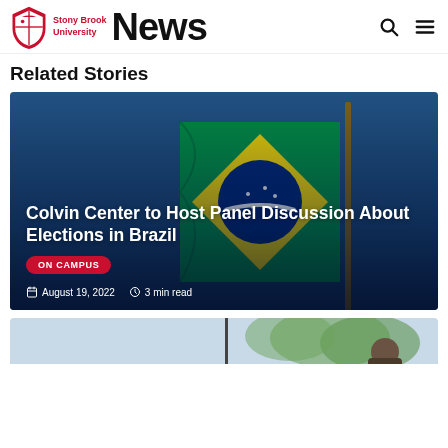Stony Brook University News
Related Stories
[Figure (photo): Brazilian flag waving against a blue sky, used as background for a news card titled 'Colvin Center to Host Panel Discussion About Elections in Brazil', tagged ON CAMPUS, dated August 19, 2022, 3 min read]
[Figure (photo): Partial view of a second news card showing a person outdoors, partially cropped at the bottom of the page]